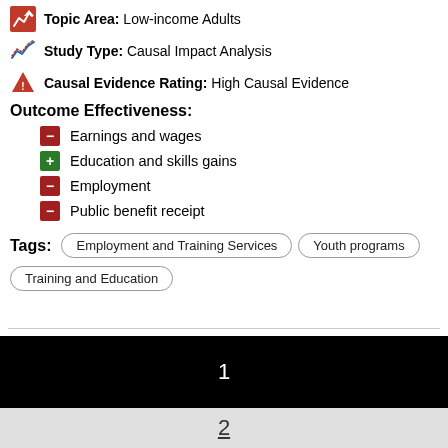Topic Area: Low-income Adults
Study Type: Causal Impact Analysis
Causal Evidence Rating: High Causal Evidence
Outcome Effectiveness:
Earnings and wages
Education and skills gains
Employment
Public benefit receipt
Tags: Employment and Training Services | Youth programs | Training and Education
1
2